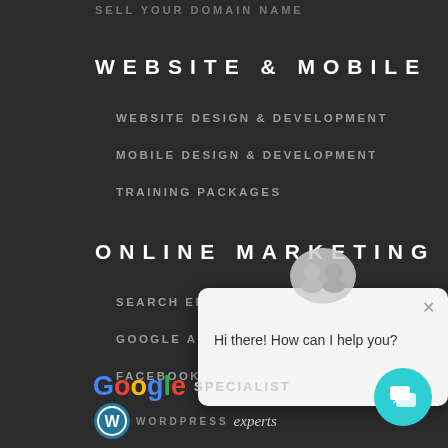SELL YOUR DOMAIN NAME
WEBSITE & MOBILE
WEBSITE DESIGN & DEVELOPMENT
MOBILE DESIGN & DEVELOPMENT
TRAINING PACKAGES
ONLINE MARKETING
SEARCH ENGINE OPTIMIZATION
GOOGLE AND YOUT...
FACEBOOK AND INS...
[Figure (screenshot): Chat popup with avatar icon showing two people, close button X, and message 'Hi there! How can I help you?']
[Figure (logo): Google logo in multicolor with SPECIALIST text next to it]
WORDPRESS experts
[Figure (logo): Teal circular chat button with chat icon, bottom right corner]